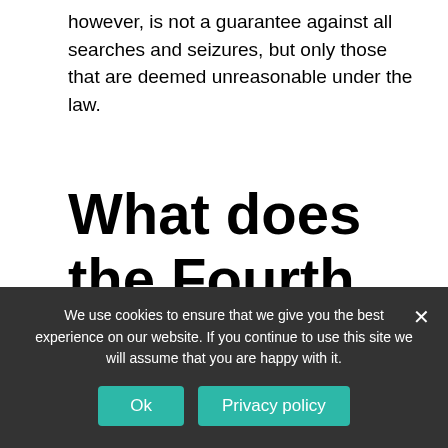however, is not a guarantee against all searches and seizures, but only those that are deemed unreasonable under the law.
What does the Fourth Amendment say exactly?
The right of the people to be secure in their
We use cookies to ensure that we give you the best experience on our website. If you continue to use this site we will assume that you are happy with it.